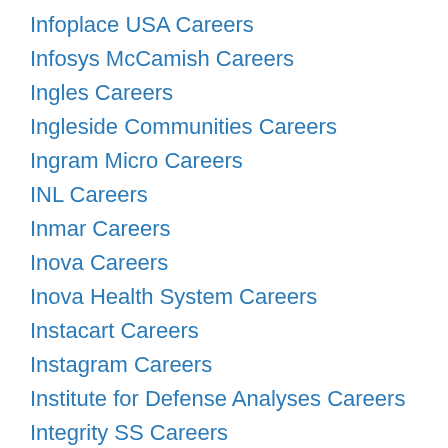Infoplace USA Careers
Infosys McCamish Careers
Ingles Careers
Ingleside Communities Careers
Ingram Micro Careers
INL Careers
Inmar Careers
Inova Careers
Inova Health System Careers
Instacart Careers
Instagram Careers
Institute for Defense Analyses Careers
Integrity SS Careers